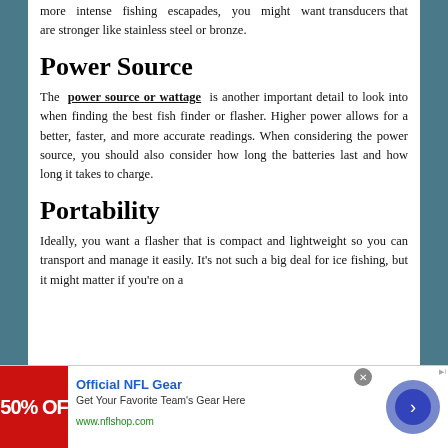more intense fishing escapades, you might want transducers that are stronger like stainless steel or bronze.
Power Source
The power source or wattage is another important detail to look into when finding the best fish finder or flasher. Higher power allows for a better, faster, and more accurate readings. When considering the power source, you should also consider how long the batteries last and how long it takes to charge.
Portability
Ideally, you want a flasher that is compact and lightweight so you can transport and manage it easily. It's not such a big deal for ice fishing, but it might matter if you're on a
[Figure (other): Advertisement banner for Official NFL Gear showing 50% OFF red image, NFL shop text, and arrow button]